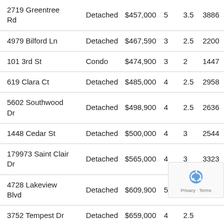| 2719 Greentree Rd | Detached | $457,000 | 5 | 3.5 | 3886 |
| 4979 Bilford Ln | Detached | $467,590 | 3 | 2.5 | 2200 |
| 101 3rd St | Condo | $474,900 | 3 | 2 | 1447 |
| 619 Clara Ct | Detached | $485,000 | 4 | 2.5 | 2958 |
| 5602 Southwood Dr | Detached | $498,900 | 4 | 2.5 | 2636 |
| 1448 Cedar St | Detached | $500,000 | 4 | 3 | 2544 |
| 179973 Saint Clair Dr | Detached | $565,000 | 4 | 3 | 3323 |
| 4728 Lakeview Blvd | Detached | $609,900 | 5 | 3.5 |  |
| 3752 Tempest Dr | Detached | $659,000 | 4 | 2.5 |  |